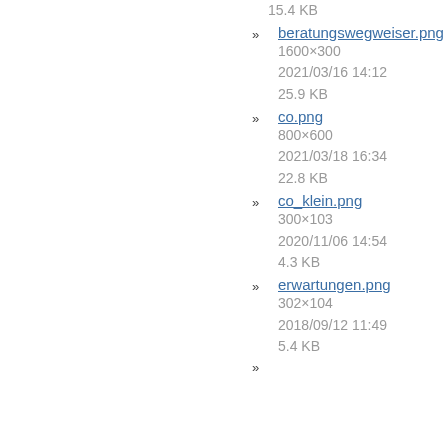15.4 KB
» beratungswegweiser.png
1600×300
2021/03/16 14:12
25.9 KB
» co.png
800×600
2021/03/18 16:34
22.8 KB
» co_klein.png
300×103
2020/11/06 14:54
4.3 KB
» erwartungen.png
302×104
2018/09/12 11:49
5.4 KB
»